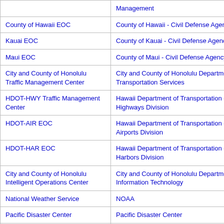| EOC / Center Name | Organization |
| --- | --- |
|  | Management |
| County of Hawaii EOC | County of Hawaii - Civil Defense Agency |
| Kauai EOC | County of Kauai - Civil Defense Agency |
| Maui EOC | County of Maui - Civil Defense Agency |
| City and County of Honolulu Traffic Management Center | City and County of Honolulu Department of Transportation Services |
| HDOT-HWY Traffic Management Center | Hawaii Department of Transportation - Highways Division |
| HDOT-AIR EOC | Hawaii Department of Transportation - Airports Division |
| HDOT-HAR EOC | Hawaii Department of Transportation - Harbors Division |
| City and County of Honolulu Intelligent Operations Center | City and County of Honolulu Department of Information Technology |
| National Weather Service | NOAA |
| Pacific Disaster Center | Pacific Disaster Center |
| Pacific Tsunami Warning Center | NOAA |